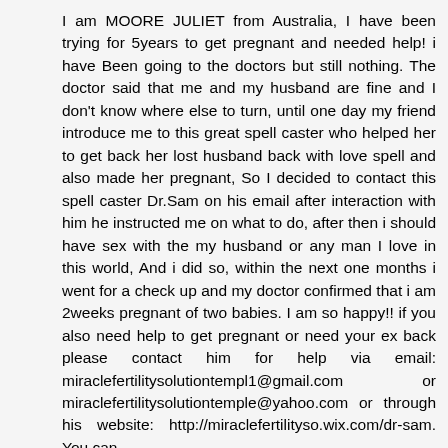I am MOORE JULIET from Australia, I have been trying for 5years to get pregnant and needed help! i have Been going to the doctors but still nothing. The doctor said that me and my husband are fine and I don't know where else to turn, until one day my friend introduce me to this great spell caster who helped her to get back her lost husband back with love spell and also made her pregnant, So I decided to contact this spell caster Dr.Sam on his email after interaction with him he instructed me on what to do, after then i should have sex with the my husband or any man I love in this world, And i did so, within the next one months i went for a check up and my doctor confirmed that i am 2weeks pregnant of two babies. I am so happy!! if you also need help to get pregnant or need your ex back please contact him for help via email: miraclefertilitysolutiontempl1@gmail.com or miraclefertilitysolutiontemple@yahoo.com or through his website: http://miraclefertilityso.wix.com/dr-sam. You can